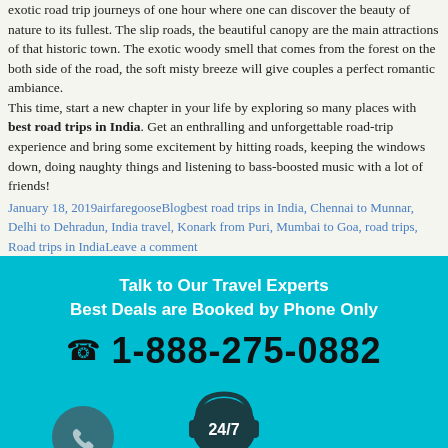exotic road trip journeys of one hour where one can discover the beauty of nature to its fullest. The slip roads, the beautiful canopy are the main attractions of that historic town. The exotic woody smell that comes from the forest on the both side of the road, the soft misty breeze will give couples a perfect romantic ambiance.
This time, start a new chapter in your life by exploring so many places with best road trips in India. Get an enthralling and unforgettable road-trip experience and bring some excitement by hitting roads, keeping the windows down, doing naughty things and listening to bass-boosted music with a lot of friends!
January 18, 2019airfaregooseBlogbest road trips in India, Chennai to Munnar, Delhi to Dehradun, India travel, Konark from Puri, Mumbai to Goa, road trips, Road trips in IndiaLeave a comment
[Figure (infographic): Teal/cyan banner with text 'Talk to Our Travel Experts Best Deals are Booked by Phone Only', phone number 1-888-275-0882, a phone circle icon on the left and a 24/7 headset icon at the bottom center]